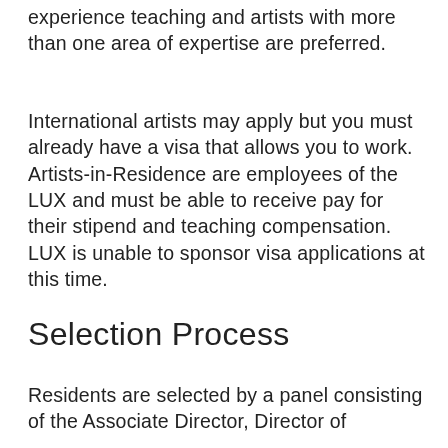experience teaching and artists with more than one area of expertise are preferred.
International artists may apply but you must already have a visa that allows you to work. Artists-in-Residence are employees of the LUX and must be able to receive pay for their stipend and teaching compensation. LUX is unable to sponsor visa applications at this time.
Selection Process
Residents are selected by a panel consisting of the Associate Director, Director of